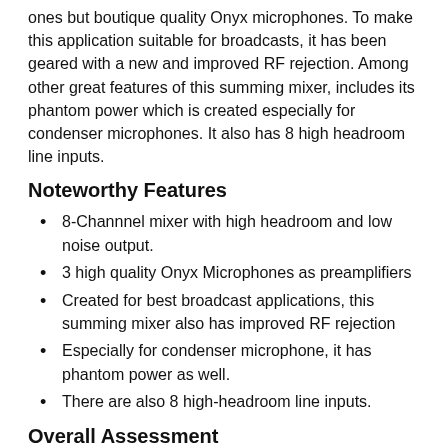ones but boutique quality Onyx microphones. To make this application suitable for broadcasts, it has been geared with a new and improved RF rejection. Among other great features of this summing mixer, includes its phantom power which is created especially for condenser microphones. It also has 8 high headroom line inputs.
Noteworthy Features
8-Channnel mixer with high headroom and low noise output.
3 high quality Onyx Microphones as preamplifiers
Created for best broadcast applications, this summing mixer also has improved RF rejection
Especially for condenser microphone, it has phantom power as well.
There are also 8 high-headroom line inputs.
Overall Assessment
When in search of a compact summing mixer that is cheap